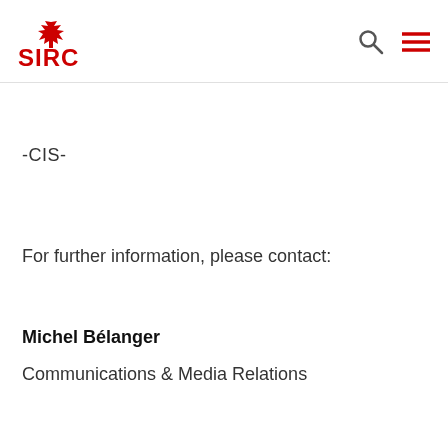SIRC
-CIS-
For further information, please contact:
Michel Bélanger
Communications & Media Relations